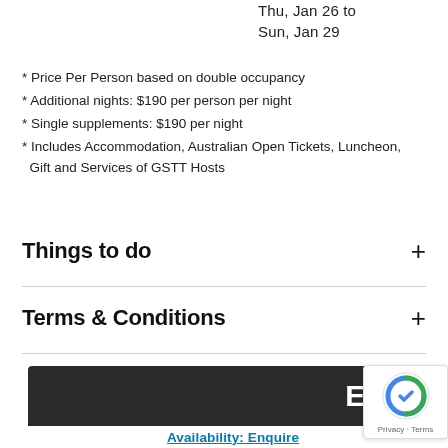Thu, Jan 26 to
Sun, Jan 29
* Price Per Person based on double occupancy
* Additional nights: $190 per person per night
* Single supplements: $190 per night
* Includes Accommodation, Australian Open Tickets, Luncheon, Gift and Services of GSTT Hosts
Things to do
Terms & Conditions
Enqui
Availability: Enquire